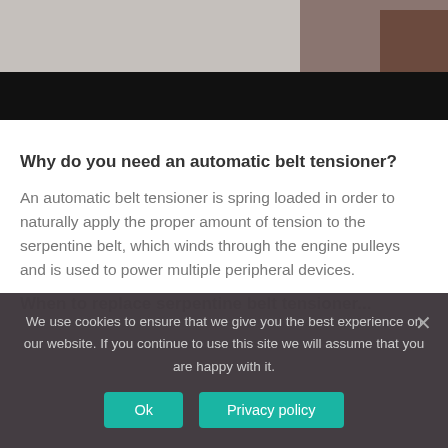[Figure (photo): Close-up photograph of a serpentine belt and engine component, upper portion visible. Lower portion is a black bar.]
Why do you need an automatic belt tensioner?
An automatic belt tensioner is spring loaded in order to naturally apply the proper amount of tension to the serpentine belt, which winds through the engine pulleys and is used to power multiple peripheral devices.
When to replace serpentine belt tensioner...
We use cookies to ensure that we give you the best experience on our website. If you continue to use this site we will assume that you are happy with it.